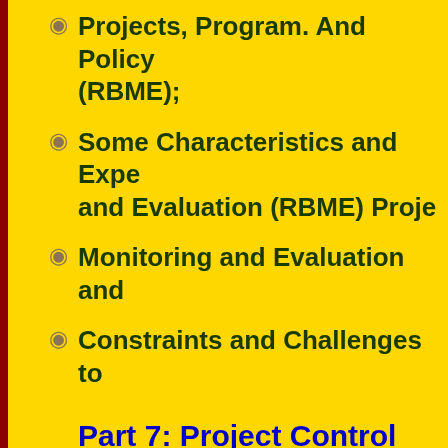Projects, Program. And Policy (RBME);
Some Characteristics and Expe and Evaluation (RBME) Proje
Monitoring and Evaluation and
Constraints and Challenges to
Part 7: Project Control
Achieving Team Member Self-C
Project Control System;
Characteristics of a Project Co